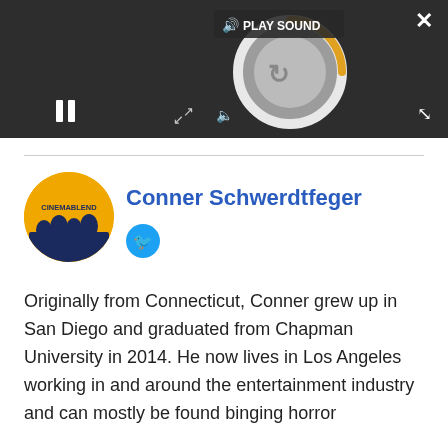[Figure (screenshot): Video player overlay with dark background, loading spinner circle (gray/white with orange loading arc), play sound button, pause button, close (X) button, and expand button.]
PLAY SOUND
Conner Schwerdtfeger
[Figure (photo): CinemaBlend circular avatar logo showing yellow background with silhouetted figures and CINEMABLEND text]
[Figure (logo): Twitter bird icon in blue circle]
Originally from Connecticut, Conner grew up in San Diego and graduated from Chapman University in 2014. He now lives in Los Angeles working in and around the entertainment industry and can mostly be found binging horror